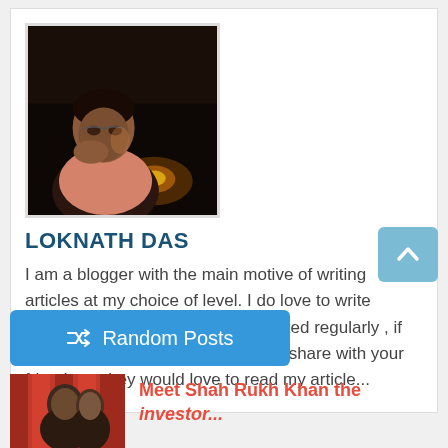[Figure (photo): Author photo of Loknath Das, a person sitting in a dark setting with warm lights in background]
LOKNATH DAS
I am a blogger with the main motive of writing articles at my choice of level. I do love to write articles and keep my website updated regularly , if you love my article then be sure to share with your friends as they would love to read my article...
[Figure (other): Scroll to top button with caret/arrow icon]
Random Posts
[Figure (photo): Thumbnail image for Meet Shah Rukh Khan article, showing person against red curtain backdrop]
Meet Shah Rukh Khan the investor...